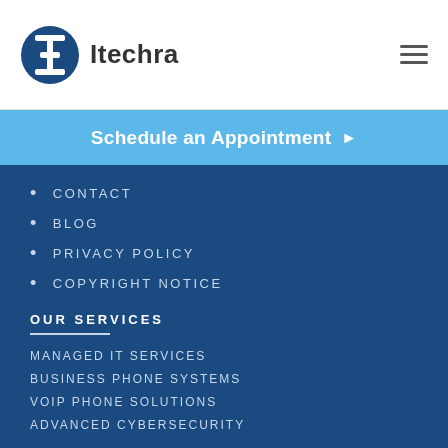Itechra
Schedule an Appointment ▶
CONTACT
BLOG
PRIVACY POLICY
COPYRIGHT NOTICE
OUR SERVICES
MANAGED IT SERVICES
BUSINESS PHONE SYSTEMS
VOIP PHONE SOLUTIONS
ADVANCED CYBERSECURITY